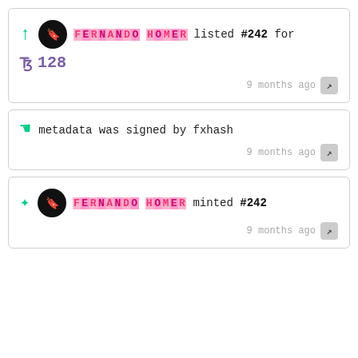FERNANDO HOMER listed #242 for ꜩ 128 — 9 months ago
metadata was signed by fxhash — 9 months ago
FERNANDO HOMER minted #242 — 9 months ago